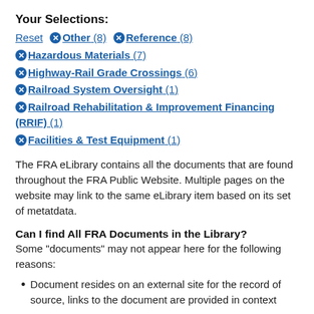Your Selections:
Reset  ✕ Other (8)  ✕ Reference (8)
✕ Hazardous Materials (7)
✕ Highway-Rail Grade Crossings (6)
✕ Railroad System Oversight (1)
✕ Railroad Rehabilitation & Improvement Financing (RRIF) (1)
✕ Facilities & Test Equipment (1)
The FRA eLibrary contains all the documents that are found throughout the FRA Public Website. Multiple pages on the website may link to the same eLibrary item based on its set of metatdata.
Can I find All FRA Documents in the Library?
Some "documents" may not appear here for the following reasons:
Document resides on an external site for the record of source, links to the document are provided in context